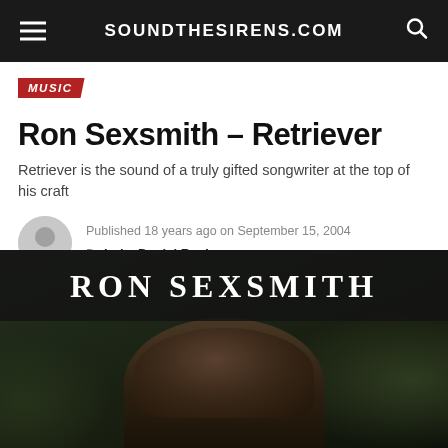SOUNDTHESIRENS.COM
MUSIC
Ron Sexsmith – Retriever
Retriever is the sound of a truly gifted songwriter at the top of his craft
Published 18 years ago on September 15, 2004
By Luke Daniel Rush
[Figure (photo): Ron Sexsmith album cover showing artist name in large text over a dark atmospheric image of a person with blurred background foliage]